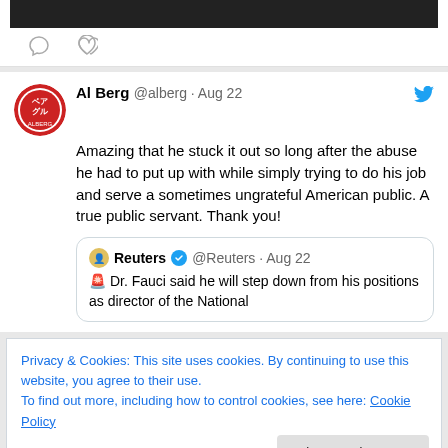[Figure (screenshot): Top of a tweet card showing a dark image and interaction icons (comment bubble and heart)]
Al Berg @alberg · Aug 22
Amazing that he stuck it out so long after the abuse he had to put up with while simply trying to do his job and serve a sometimes ungrateful American public.  A true public servant.  Thank you!
Reuters @Reuters · Aug 22
🚨 Dr. Fauci said he will step down from his positions as director of the National
Privacy & Cookies: This site uses cookies. By continuing to use this website, you agree to their use.
To find out more, including how to control cookies, see here: Cookie Policy
Close and accept
Al Berg @alberg · Aug 22